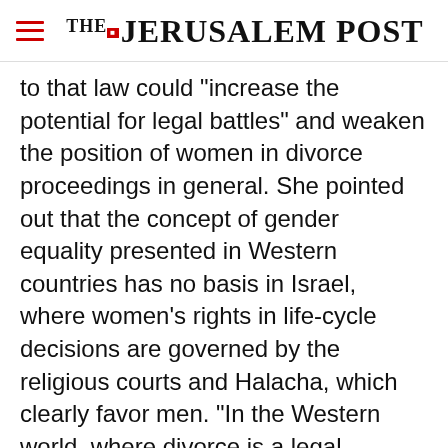THE JERUSALEM POST
to that law could "increase the potential for legal battles" and weaken the position of women in divorce proceedings in general. She pointed out that the concept of gender equality presented in Western countries has no basis in Israel, where women's rights in life-cycle decisions are governed by the religious courts and Halacha, which clearly favor men. "In the Western world, where divorce is a legal regulation, it is gender-neutral," she said. "There is no question of
Advertisement